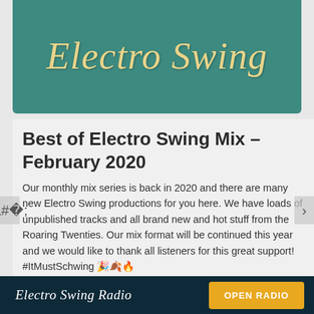[Figure (logo): Electro Swing logo text in italic gold/cream font on teal background]
Best of Electro Swing Mix – February 2020
Our monthly mix series is back in 2020 and there are many new Electro Swing productions for you here. We have loads of unpublished tracks and all brand new and hot stuff from the Roaring Twenties. Our mix format will be continued this year and we would like to thank all listeners for this great support! #ItMustSchwing 🎉🍂🔥 🎩
With tracks by:  The Swing Bot, Phos Toni, Glenn Gatsby, Peggy Suave, Cut Capers, Odd Chap, Mr. Jazzek,
Electro Swing Radio    OPEN RADIO